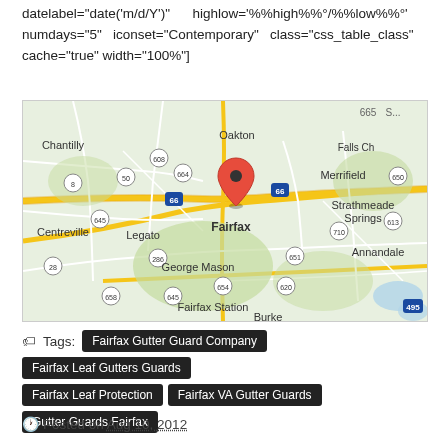datelabel="date('m/d/Y')"      highlow='%%high%%°/%%low%%°' numdays="5"   iconset="Contemporary"   class="css_table_class" cache="true" width="100%"]
[Figure (map): Google Map centered on Fairfax, Virginia, showing surrounding areas including Chantilly, Oakton, Merrifield, Strathmeade Springs, Annandale, George Mason, Fairfax Station, Burke, and Centreville. A red location pin marks Fairfax. Interstate 66 and route numbers 50, 286, 495, 710, 651, 654, 620, 645, 658, 613, 650, 664, 608 are visible.]
Tags: Fairfax Gutter Guard Company | Fairfax Leaf Gutters Guards | Fairfax Leaf Protection | Fairfax VA Gutter Guards | Gutter Guards Fairfax
Posted on Aug 10, 2012